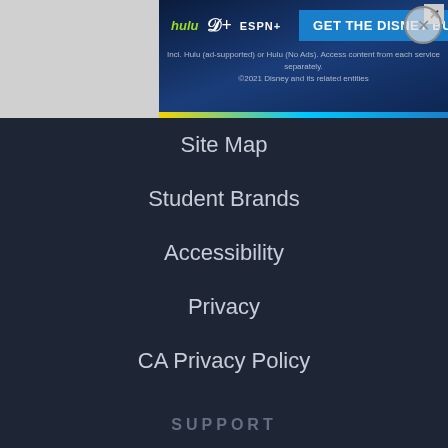[Figure (screenshot): Disney Bundle advertisement banner with Hulu, Disney+, ESPN+ logos and 'GET THE DISNEY BUNDLE' CTA button on dark blue background]
Site Map
Student Brands
Accessibility
Privacy
CA Privacy Policy
SUPPORT
Help
Contact Us
CA Do Not Sell My Personal Information
MOST ADDICTIVE SUBSTANCE
Ad | An AMG Site